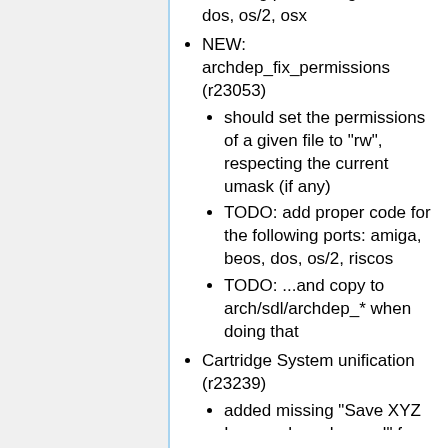following ports: amiga, beos, dos, os/2, osx
NEW: archdep_fix_permissions (r23053)
should set the permissions of a given file to "rw", respecting the current umask (if any)
TODO: add proper code for the following ports: amiga, beos, dos, os/2, riscos
TODO: ...and copy to arch/sdl/archdep_* when doing that
Cartridge System unification (r23239)
added missing "Save XYZ Image when changed" for mmcr, reu, georam, ramcart, isepic, dqbb, expert
Resource: XYZImageWrite